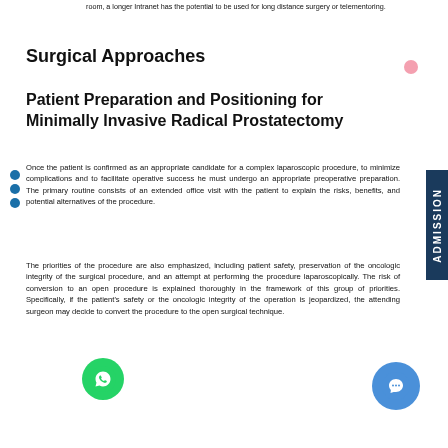room, a longer Intranet has the potential to be used for long distance surgery or telementoring.
Surgical Approaches
Patient Preparation and Positioning for Minimally Invasive Radical Prostatectomy
Once the patient is confirmed as an appropriate candidate for a complex laparoscopic procedure, to minimize complications and to facilitate operative success he must undergo an appropriate preoperative preparation. The primary routine consists of an extended office visit with the patient to explain the risks, benefits, and potential alternatives of the procedure.
The priorities of the procedure are also emphasized, including patient safety, preservation of the oncologic integrity of the surgical procedure, and an attempt at performing the procedure laparoscopically. The risk of conversion to an open procedure is explained thoroughly in the framework of this group of priorities. Specifically, if the patient's safety or the oncologic integrity of the operation is jeopardized, the attending surgeon may decide to convert the procedure to the open surgical technique.